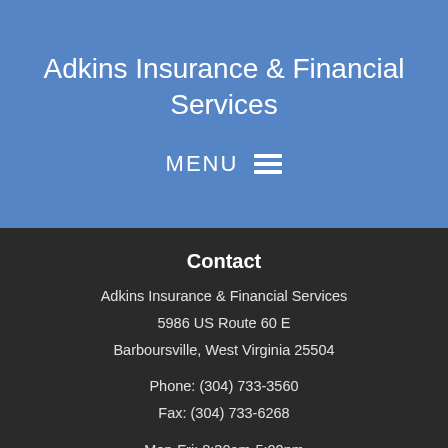Adkins Insurance & Financial Services
MENU ☰
Contact
Adkins Insurance & Financial Services
5986 US Route 60 E
Barboursville, West Virginia 25504
Phone: (304) 733-3560
Fax: (304) 733-6268
Mon-Fri: 8:30am-5:00pm